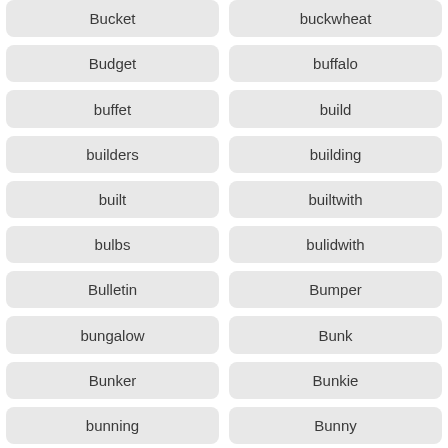Bucket
buckwheat
Budget
buffalo
buffet
build
builders
building
built
builtwith
bulbs
bulidwith
Bulletin
Bumper
bungalow
Bunk
Bunker
Bunkie
bunning
Bunny